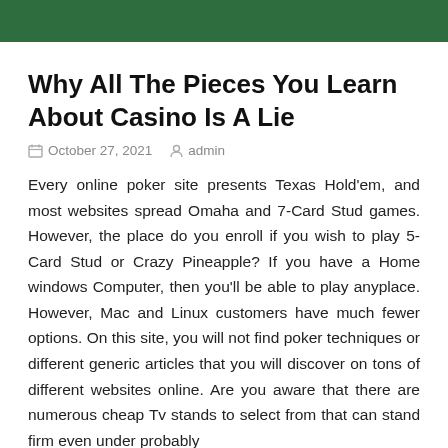[Figure (other): Green header banner bar]
Why All The Pieces You Learn About Casino Is A Lie
October 27, 2021   admin
Every online poker site presents Texas Hold'em, and most websites spread Omaha and 7-Card Stud games. However, the place do you enroll if you wish to play 5-Card Stud or Crazy Pineapple? If you have a Home windows Computer, then you'll be able to play anyplace. However, Mac and Linux customers have much fewer options. On this site, you will not find poker techniques or different generic articles that you will discover on tons of different websites online. Are you aware that there are numerous cheap Tv stands to select from that can stand firm even under probably